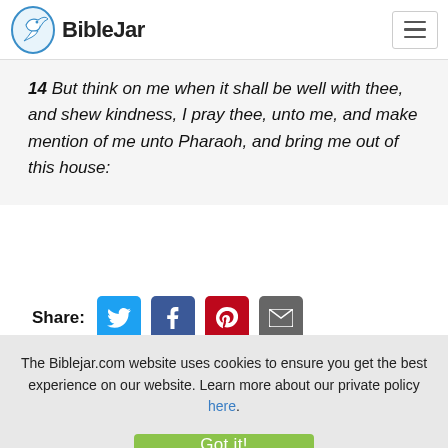BibleJar
14 But think on me when it shall be well with thee, and shew kindness, I pray thee, unto me, and make mention of me unto Pharaoh, and bring me out of this house:
Share:
The Biblejar.com website uses cookies to ensure you get the best experience on our website. Learn more about our private policy here.